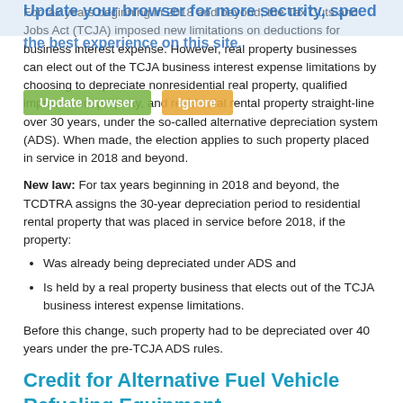For tax years beginning in 2018 and beyond, the Tax Cuts and Jobs Act (TCJA) imposed new limitations on deductions for business interest expense. However, real property businesses can elect out of the TCJA business interest expense limitations by choosing to depreciate nonresidential real property, qualified improvement property, and residential rental property straight-line over 30 years, under the so-called alternative depreciation system (ADS). When made, the election applies to such property placed in service in 2018 and beyond.
New law: For tax years beginning in 2018 and beyond, the TCDTRA assigns the 30-year depreciation period to residential rental property that was placed in service before 2018, if the property:
Was already being depreciated under ADS and
Is held by a real property business that elects out of the TCJA business interest expense limitations.
Before this change, such property had to be depreciated over 40 years under the pre-TCJA ADS rules.
Credit for Alternative Fuel Vehicle Refueling Equipment
A personal and business federal income tax credit can be claimed for up to 30%